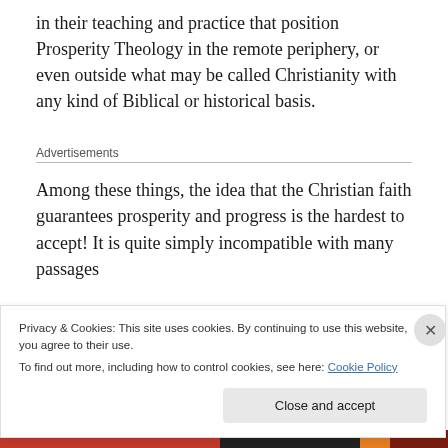in their teaching and practice that position Prosperity Theology in the remote periphery, or even outside what may be called Christianity with any kind of Biblical or historical basis.
Advertisements
Among these things, the idea that the Christian faith guarantees prosperity and progress is the hardest to accept! It is quite simply incompatible with many passages
Privacy & Cookies: This site uses cookies. By continuing to use this website, you agree to their use.
To find out more, including how to control cookies, see here: Cookie Policy
Close and accept